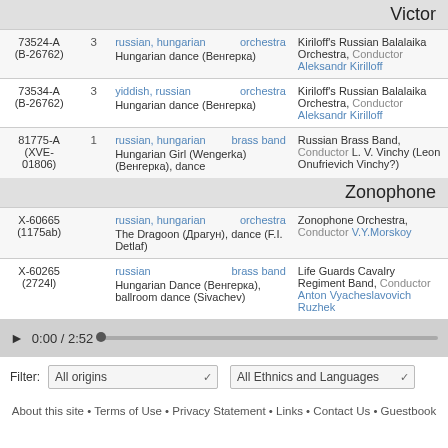Victor
| ID | # | Info | Performer |
| --- | --- | --- | --- |
| 73524-A (B-26762) | 3 | russian, hungarian  orchestra
Hungarian dance (Венгерка) | Kiriloff's Russian Balalaika Orchestra, Conductor Aleksandr Kirilloff |
| 73534-A (B-26762) | 3 | yiddish, russian  orchestra
Hungarian dance (Венгерка) | Kiriloff's Russian Balalaika Orchestra, Conductor Aleksandr Kirilloff |
| 81775-A (XVE-01806) | 1 | russian, hungarian  brass band
Hungarian Girl (Wengerka) (Венгерка), dance | Russian Brass Band, Conductor L. V. Vinchy (Leon Onufrievich Vinchy?) |
Zonophone
| ID | # | Info | Performer |
| --- | --- | --- | --- |
| X-60665 (1175ab) |  | russian, hungarian  orchestra
The Dragoon (Драгун), dance (F.I. Detlaf) | Zonophone Orchestra, Conductor V.Y.Morskoy |
| X-60265 (2724l) |  | russian  brass band
Hungarian Dance (Венгерка), ballroom dance (Sivachev) | Life Guards Cavalry Regiment Band, Conductor Anton Vyacheslavovich Ruzhek |
0:00 / 2:52
Filter: All origins  All Ethnics and Languages
About this site • Terms of Use • Privacy Statement • Links • Contact Us • Guestbook